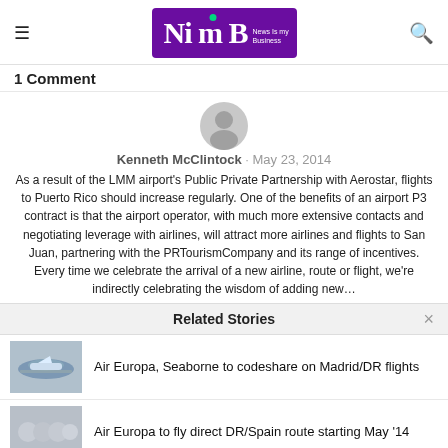NimB — News is my Business
1 Comment
[Figure (illustration): Generic user avatar — grey circle with person silhouette]
Kenneth McClintock · May 23, 2014
As a result of the LMM airport's Public Private Partnership with Aerostar, flights to Puerto Rico should increase regularly. One of the benefits of an airport P3 contract is that the airport operator, with much more extensive contacts and negotiating leverage with airlines, will attract more airlines and flights to San Juan, partnering with the PRTourismCompany and its range of incentives. Every time we celebrate the arrival of a new airline, route or flight, we're indirectly celebrating the wisdom of adding new...
Related Stories
[Figure (photo): Airplane on tarmac, related to Air Europa story]
Air Europa, Seaborne to codeshare on Madrid/DR flights
[Figure (photo): Group of people, related to Air Europa DR/Spain route story]
Air Europa to fly direct DR/Spain route starting May '14